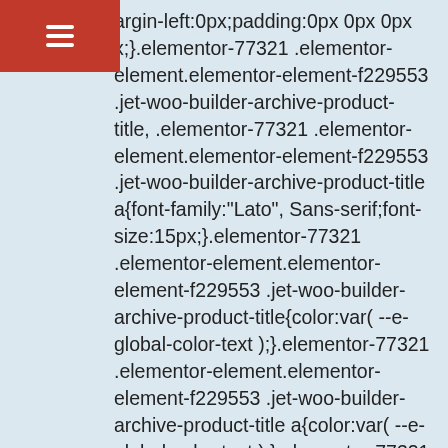argin-left:0px;padding:0px 0px 0px x;}.elementor-77321 .elementor-element.elementor-element-f229553 .jet-woo-builder-archive-product-title, .elementor-77321 .elementor-element.elementor-element-f229553 .jet-woo-builder-archive-product-title a{font-family:"Lato", Sans-serif;font-size:15px;}.elementor-77321 .elementor-element.elementor-element-f229553 .jet-woo-builder-archive-product-title{color:var( --e-global-color-text );}.elementor-77321 .elementor-element.elementor-element-f229553 .jet-woo-builder-archive-product-title a{color:var( --e-global-color-text );}.elementor-77321 .elementor-element.elementor-element-f229553 .jet-woo-builder-archive-product-title:hover{color:var( --e-global-color-accent );}.elementor-77321